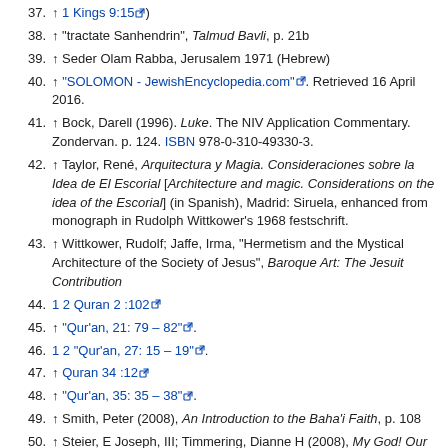37. ↑ 1 Kings 9:15 )
38. ↑ "tractate Sanhendrin", Talmud Bavli, p. 21b
39. ↑ Seder Olam Rabba, Jerusalem 1971 (Hebrew)
40. ↑ "SOLOMON - JewishEncyclopedia.com". Retrieved 16 April 2016.
41. ↑ Bock, Darell (1996). Luke. The NIV Application Commentary. Zondervan. p. 124. ISBN 978-0-310-49330-3.
42. ↑ Taylor, René, Arquitectura y Magia. Consideraciones sobre la Idea de El Escorial [Architecture and magic. Considerations on the idea of the Escorial] (in Spanish), Madrid: Siruela, enhanced from monograph in Rudolph Wittkower's 1968 festschrift.
43. ↑ Wittkower, Rudolf; Jaffe, Irma, "Hermetism and the Mystical Architecture of the Society of Jesus", Baroque Art: The Jesuit Contribution
44. 1 2 Quran 2 :102
45. ↑ "Qur'an, 21: 79 – 82".
46. 1 2 "Qur'an, 27: 15 – 19".
47. ↑ Quran 34 :12
48. ↑ "Qur'an, 35: 35 – 38".
49. ↑ Smith, Peter (2008), An Introduction to the Baha'i Faith, p. 108
50. ↑ Steier, E Joseph, III; Timmering, Dianne H (2008), My God! Our